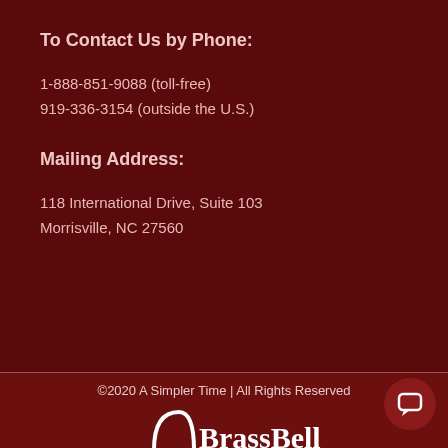To Contact Us by Phone:
1-888-851-9088 (toll-free)
919-336-3154 (outside the U.S.)
Mailing Address:
118 International Drive, Suite 103
Morrisville, NC 27560
©2020 A Simpler Time | All Rights Reserved
BrassBell